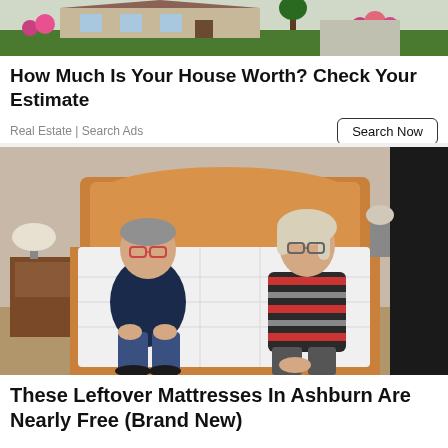[Figure (photo): Aerial or street-level photo of a house exterior with green lawn and flowering plants]
How Much Is Your House Worth? Check Your Estimate
Real Estate | Search Ads
[Figure (photo): An older couple sitting on a bed with a white mattress in a bedroom. Man on left wearing dark blue striped polo and glasses, woman on right wearing red/black striped top and glasses.]
These Leftover Mattresses In Ashburn Are Nearly Free (Brand New)